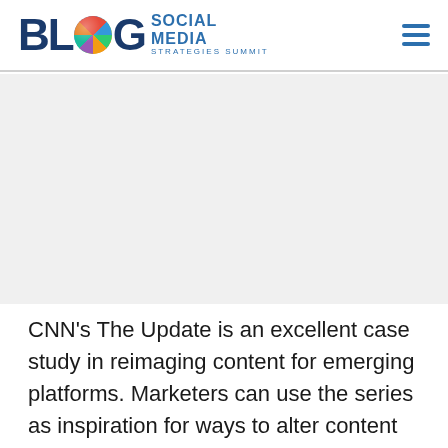BLOG SOCIAL MEDIA STRATEGIES SUMMIT
[Figure (other): Gray placeholder/ad area below the header]
CNN's The Update is an excellent case study in reimaging content for emerging platforms. Marketers can use the series as inspiration for ways to alter content and perspectives for different mediums.